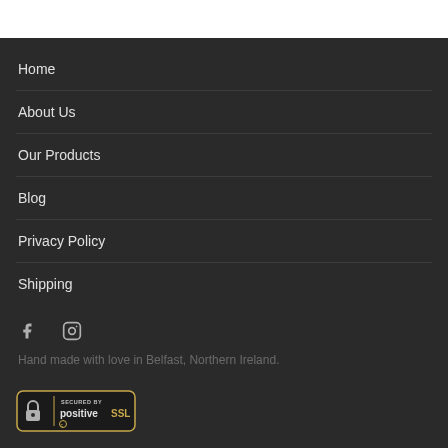Home
About Us
Our Products
Blog
Privacy Policy
Shipping
[Figure (logo): Facebook icon and Instagram icon (social media links)]
Hand made with love in Belfast, Northern Ireland.
[Figure (logo): Secured by PositiveSSL badge — padlock icon with text SECURED BY positiveSSL]